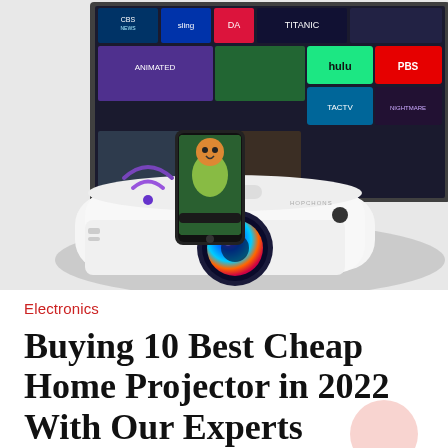[Figure (photo): A white portable home projector with a colorful lens, with a smartphone resting on top showing an animated movie. Behind the projector is a large projection screen showing streaming service logos (CBS News, Sling, DA, Titanic, Hulu, PBS, TACTV, and others). A purple/blue WiFi icon appears to the left of the phone.]
Electronics
Buying 10 Best Cheap Home Projector in 2022 With Our Experts